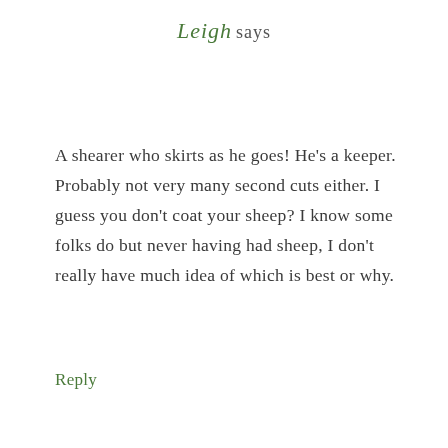Leigh says
A shearer who skirts as he goes! He's a keeper. Probably not very many second cuts either. I guess you don't coat your sheep? I know some folks do but never having had sheep, I don't really have much idea of which is best or why.
Reply